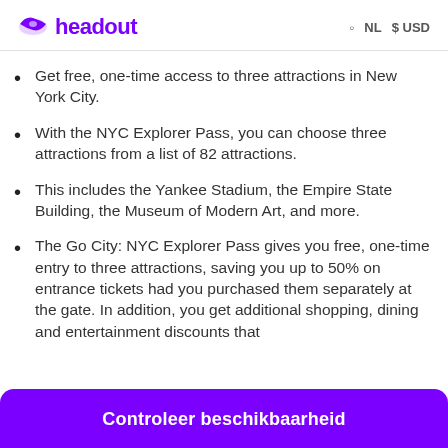headout  NL  $USD
Get free, one-time access to three attractions in New York City.
With the NYC Explorer Pass, you can choose three attractions from a list of 82 attractions.
This includes the Yankee Stadium, the Empire State Building, the Museum of Modern Art, and more.
The Go City: NYC Explorer Pass gives you free, one-time entry to three attractions, saving you up to 50% on entrance tickets had you purchased them separately at the gate. In addition, you get additional shopping, dining and entertainment discounts that
Controleer beschikbaarheid